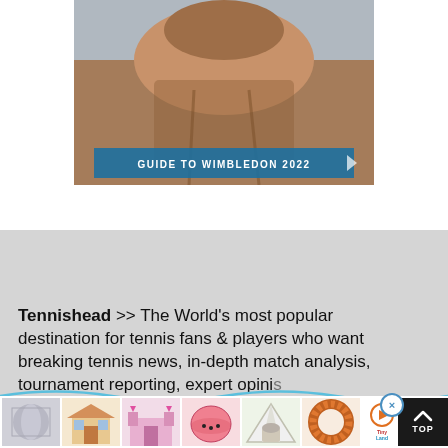[Figure (photo): Close-up photo of a tennis player's jaw and neck from below, with a blue banner overlay reading 'GUIDE TO WIMBLEDON 2022']
Tennishead >> The World's most popular destination for tennis fans & players who want breaking tennis news, in-depth match analysis, tournament reporting, expert opini...
[Figure (photo): Horizontal scrolling ad strip showing thumbnail product images (foil roll, dollhouse, toy castle, pink helmet, tent, wreath) with a play button and Tiny Land logo]